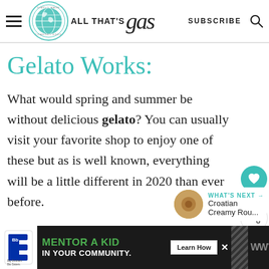ALL THAT'S GAS — SUBSCRIBE — [hamburger menu] [search icon]
Gelato Works:
What would spring and summer be without delicious gelato? You can usually visit your favorite shop to enjoy one of these but as is well known, everything will be a little different in 2020 than ever before.
[Figure (screenshot): Ad banner: Big Brothers Big Sisters logo, 'MENTOR A KID IN YOUR COMMUNITY.' with Learn How button]
[Figure (infographic): What's Next arrow with Croatian Creamy Rou... thumbnail]